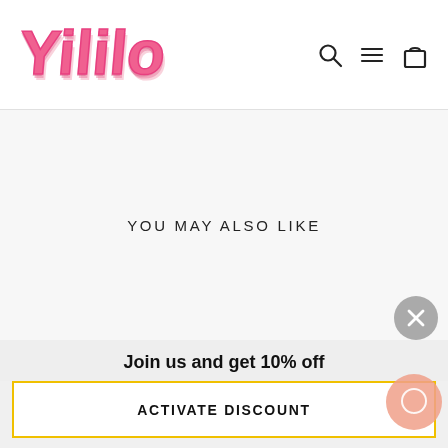[Figure (logo): Yililo brand logo in pink retro bubbly lettering with rainbow shadow effect]
[Figure (infographic): Navigation icons: search (magnifying glass), hamburger menu, and shopping bag]
YOU MAY ALSO LIKE
[Figure (other): Gray circular close/X button]
Join us and get 10% off
ACTIVATE DISCOUNT
[Figure (other): Peach/salmon colored chat bubble icon circle]